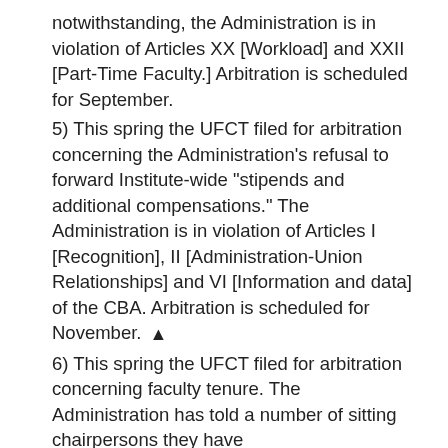notwithstanding, the Administration is in violation of Articles XX [Workload] and XXII [Part-Time Faculty.] Arbitration is scheduled for September.
5) This spring the UFCT filed for arbitration concerning the Administration's refusal to forward Institute-wide "stipends and additional compensations." The Administration is in violation of Articles I [Recognition], II [Administration-Union Relationships] and VI [Information and data] of the CBA. Arbitration is scheduled for November.
6) This spring the UFCT filed for arbitration concerning faculty tenure. The Administration has told a number of sitting chairpersons they have